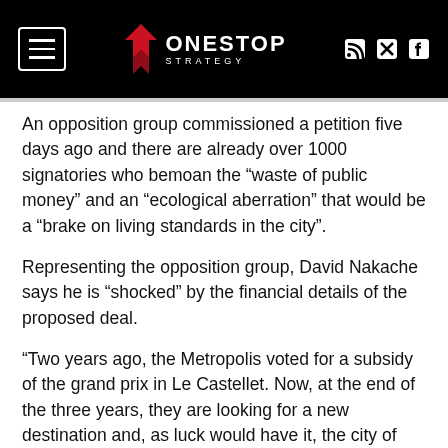OneStop Strategy
An opposition group commissioned a petition five days ago and there are already over 1000 signatories who bemoan the “waste of public money” and an “ecological aberration” that would be a “brake on living standards in the city”.
Representing the opposition group, David Nakache says he is “shocked” by the financial details of the proposed deal.
“Two years ago, the Metropolis voted for a subsidy of the grand prix in Le Castellet. Now, at the end of the three years, they are looking for a new destination and, as luck would have it, the city of Nice would welcome it,” he said.
“In terms of the management of public funds, it is shocking.”